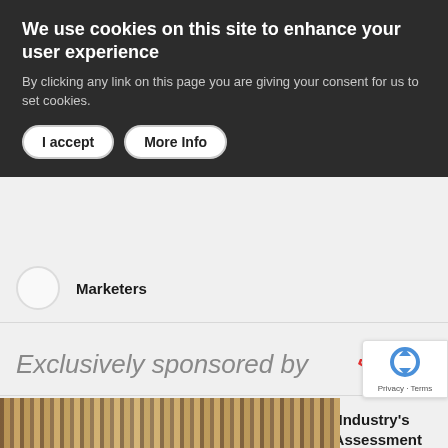We use cookies on this site to enhance your user experience
By clicking any link on this page you are giving your consent for us to set cookies.
Marketers
3 Are Virtual Events Still in the Game?
4 Destinations International Launches Industry’s First Equity, Diversity and Inclusion Assessment Tool
5 ASM Global Lends a Hand to Those in Need
Exclusively sponsored by ASM Global